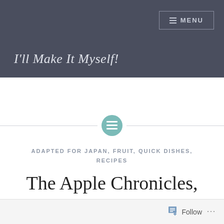I'll Make It Myself!
The Apple Chronicles, Part 1: Applesauce
ADAPTED FOR JAPAN, FRUIT, QUICK DISHES, RECIPES
Follow